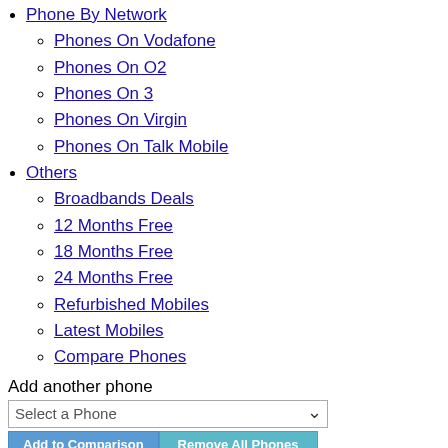Phone By Network
Phones On Vodafone
Phones On O2
Phones On 3
Phones On Virgin
Phones On Talk Mobile
Others
Broadbands Deals
12 Months Free
18 Months Free
24 Months Free
Refurbished Mobiles
Latest Mobiles
Compare Phones
Add another phone
Select a Phone
Add to Comparison   Remove All Phones
Compare mobile phones
Your added mobile phones and their details will appear here side by side!
Screen